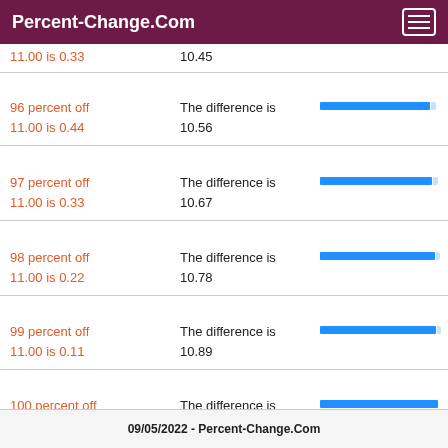Percent-Change.Com
11.00 is 0.33  10.45
96 percent off 11.00 is 0.44 — The difference is 10.56
97 percent off 11.00 is 0.33 — The difference is 10.67
98 percent off 11.00 is 0.22 — The difference is 10.78
99 percent off 11.00 is 0.11 — The difference is 10.89
100 percent off 11.00 is 0.00 — The difference is 11.00
09/05/2022 - Percent-Change.Com